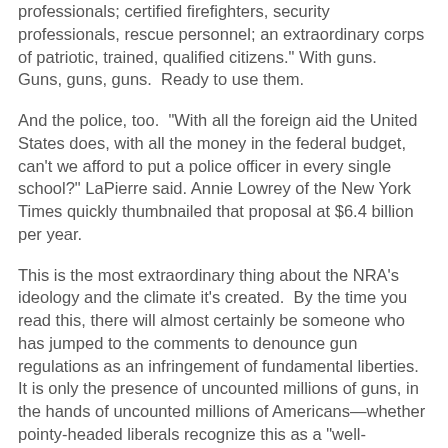professionals; certified firefighters, security professionals, rescue personnel; an extraordinary corps of patriotic, trained, qualified citizens." With guns.  Guns, guns, guns.  Ready to use them.
And the police, too.  "With all the foreign aid the United States does, with all the money in the federal budget, can't we afford to put a police officer in every single school?" LaPierre said.  Annie Lowrey of the New York Times quickly thumbnailed that proposal at $6.4 billion per year.
This is the most extraordinary thing about the NRA's ideology and the climate it's created.  By the time you read this, there will almost certainly be someone who has jumped to the comments to denounce gun regulations as an infringement of fundamental liberties.  It is only the presence of uncounted millions of guns, in the hands of uncounted millions of Americans—whether pointy-headed liberals recognize this as a "well-